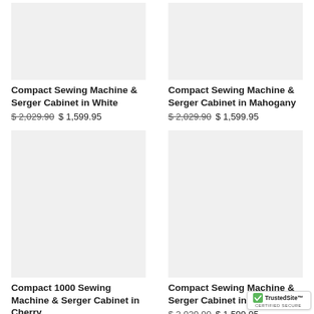[Figure (photo): Product image placeholder for Compact Sewing Machine & Serger Cabinet in White]
Compact Sewing Machine & Serger Cabinet in White
$ 2,029.90  $ 1,599.95
[Figure (photo): Product image placeholder for Compact Sewing Machine & Serger Cabinet in Mahogany]
Compact Sewing Machine & Serger Cabinet in Mahogany
$ 2,029.90  $ 1,599.95
[Figure (photo): Product image placeholder for Compact 1000 Sewing Machine & Serger Cabinet in Cherry]
Compact 1000 Sewing Machine & Serger Cabinet in Cherry
$ 2,029.90  $ 1,599.95
[Figure (photo): Product image placeholder for Compact Sewing Machine & Serger Cabinet in Pear Wood]
Compact Sewing Machine & Serger Cabinet in Pear Wood
$ 2,029.90  $ 1,599.95